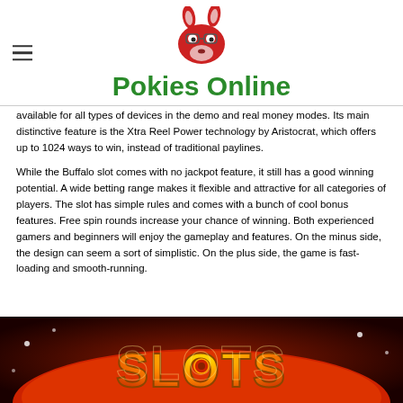Pokies Online
available for all types of devices in the demo and real money modes. Its main distinctive feature is the Xtra Reel Power technology by Aristocrat, which offers up to 1024 ways to win, instead of traditional paylines.
While the Buffalo slot comes with no jackpot feature, it still has a good winning potential. A wide betting range makes it flexible and attractive for all categories of players. The slot has simple rules and comes with a bunch of cool bonus features. Free spin rounds increase your chance of winning. Both experienced gamers and beginners will enjoy the gameplay and features. On the minus side, the design can seem a sort of simplistic. On the plus side, the game is fast-loading and smooth-running.
[Figure (photo): Slots game logo image with yellow and red text on a rounded red background with sparkle effects]